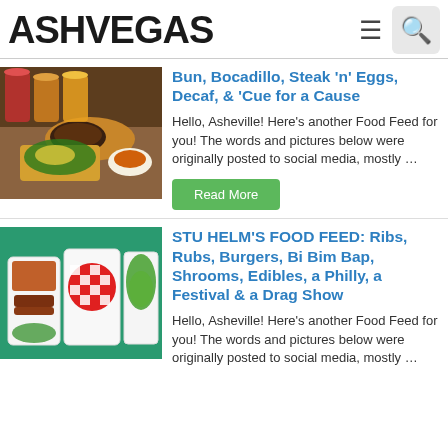ASHVEGAS
Bun, Bocadillo, Steak 'n' Eggs, Decaf, & 'Cue for a Cause
[Figure (photo): Food spread with drinks and dishes on a wooden table]
Hello, Asheville! Here's another Food Feed for you! The words and pictures below were originally posted to social media, mostly …
STU HELM'S FOOD FEED: Ribs, Rubs, Burgers, Bi Bim Bap, Shrooms, Edibles, a Philly, a Festival & a Drag Show
[Figure (photo): Food in white containers on a teal table, including a burger ball with red checkered wrap]
Hello, Asheville! Here's another Food Feed for you! The words and pictures below were originally posted to social media, mostly …